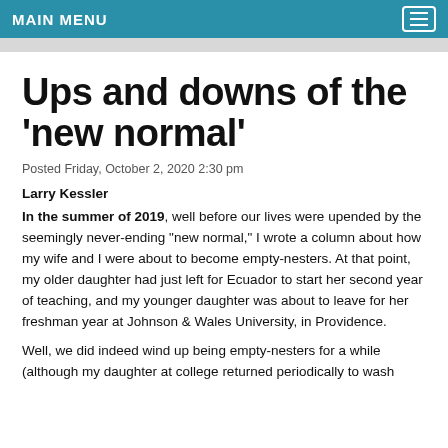MAIN MENU
Ups and downs of the ‘new normal’
Posted Friday, October 2, 2020 2:30 pm
Larry Kessler
In the summer of 2019, well before our lives were upended by the seemingly never-ending “new normal,” I wrote a column about how my wife and I were about to become empty-nesters. At that point, my older daughter had just left for Ecuador to start her second year of teaching, and my younger daughter was about to leave for her freshman year at Johnson & Wales University, in Providence.
Well, we did indeed wind up being empty-nesters for a while (although my daughter at college returned periodically to wash